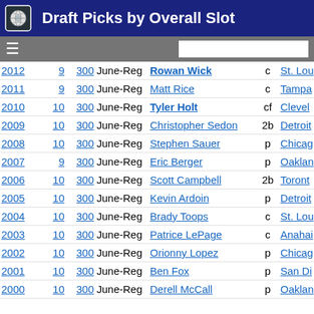Draft Picks by Overall Slot
| Year | Rd | Pick | Type | Name | Pos | Team |
| --- | --- | --- | --- | --- | --- | --- |
| 2012 | 9 | 300 | June-Reg | Rowan Wick | c | St. Lou |
| 2011 | 9 | 300 | June-Reg | Matt Rice | c | Tampa |
| 2010 | 10 | 300 | June-Reg | Tyler Holt | cf | Clevel |
| 2009 | 10 | 300 | June-Reg | Christopher Sedon | 2b | Detroit |
| 2008 | 10 | 300 | June-Reg | Stephen Sauer | p | Chicag |
| 2007 | 9 | 300 | June-Reg | Eric Berger | p | Oaklan |
| 2006 | 10 | 300 | June-Reg | Scott Campbell | 2b | Toront |
| 2005 | 10 | 300 | June-Reg | Kevin Ardoin | p | Detroit |
| 2004 | 10 | 300 | June-Reg | Brady Toops | c | St. Lou |
| 2003 | 10 | 300 | June-Reg | Patrice LePage | c | Anahai |
| 2002 | 10 | 300 | June-Reg | Orionny Lopez | p | Chicag |
| 2001 | 10 | 300 | June-Reg | Ben Fox | p | San Di |
| 2000 | 10 | 300 | June-Reg | Derell McCall | p | Oaklan |